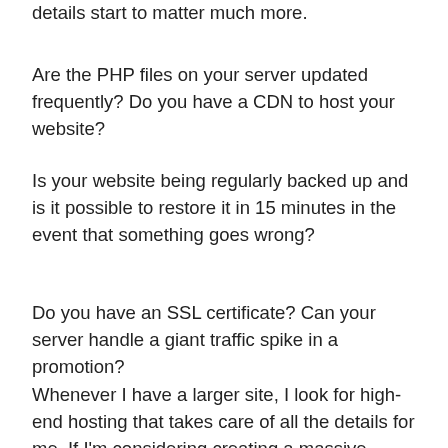details start to matter much more.
Are the PHP files on your server updated frequently? Do you have a CDN to host your website?
Is your website being regularly backed up and is it possible to restore it in 15 minutes in the event that something goes wrong?
Do you have an SSL certificate? Can your server handle a giant traffic spike in a promotion?
Whenever I have a larger site, I look for high-end hosting that takes care of all the details for me. If I'm considering creating a massive website, I look